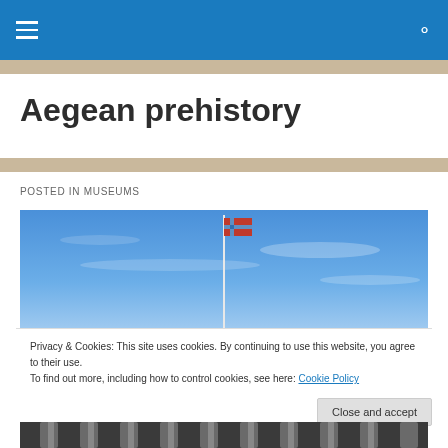Navigation bar with menu and search icons
Aegean prehistory
POSTED IN MUSEUMS
[Figure (photo): Blue sky with a flagpole and flag, photographed from below against a clear blue sky with thin white clouds]
Privacy & Cookies: This site uses cookies. By continuing to use this website, you agree to their use.
To find out more, including how to control cookies, see here: Cookie Policy
Close and accept
[Figure (photo): Partial view of a classical building with columns, photographed in black and white or low light]